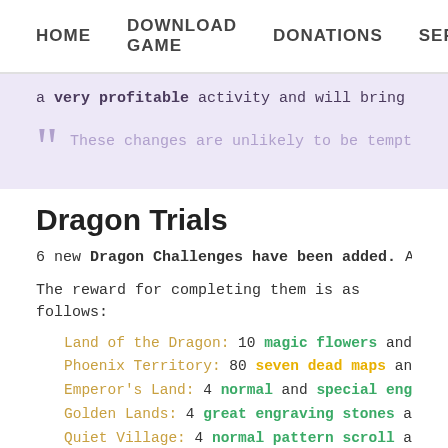HOME   DOWNLOAD GAME   DONATIONS   SERVI
a very profitable activity and will bring him great bene
These changes are unlikely to be tempting for t
Dragon Trials
6 new Dragon Challenges have been added. All of the
The reward for completing them is as follows:
Land of the Dragon: 10 magic flowers and 50 sea
Phoenix Territory: 80 seven dead maps and 20 de
Emperor's Land: 4 normal and special engraving s
Golden Lands: 4 great engraving stones and 1 wa
Quiet Village: 4 normal pattern scroll and 4 exce